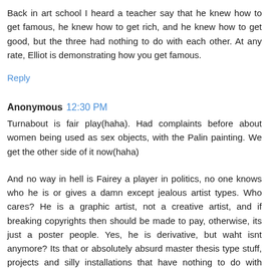Back in art school I heard a teacher say that he knew how to get famous, he knew how to get rich, and he knew how to get good, but the three had nothing to do with each other. At any rate, Elliot is demonstrating how you get famous.
Reply
Anonymous 12:30 PM
Turnabout is fair play(haha). Had complaints before about women being used as sex objects, with the Palin painting. We get the other side of it now(haha)
And no way in hell is Fairey a player in politics, no one knows who he is or gives a damn except jealous artist types. Who cares? He is a graphic artist, not a creative artist, and if breaking copyrights then should be made to pay, otherwise, its just a poster people. Yes, he is derivative, but waht isnt anymore? Its that or absolutely absurd master thesis type stuff, projects and silly installations that have nothing to do with creative art, all self-absorbed and obsessive silliness.